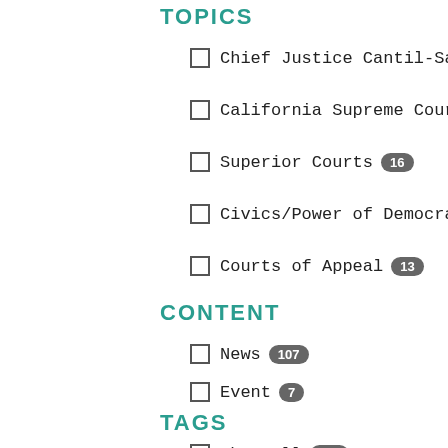TOPICS
Chief Justice Cantil-Sakauye 81
California Supreme Court 21
Superior Courts 16
Civics/Power of Democracy 15
Courts of Appeal 13
CONTENT
News 107
Event 7
TAGS
Show all 334